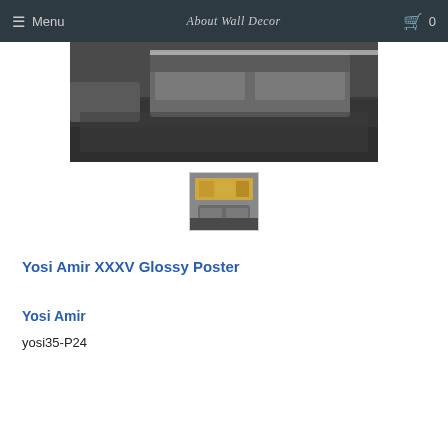Menu  About Wall Decor  0
[Figure (photo): Main product photo showing a modern living room with dark leather sofa and dark shag rug, cropped view]
[Figure (photo): Thumbnail image of the product (Yosi Amir XXXV art print) displayed in a living room setting]
Yosi Amir XXXV Glossy Poster
Yosi Amir
yosi35-P24